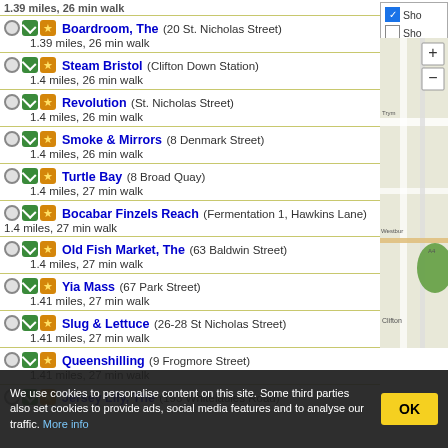1.39 miles, 26 min walk (truncated top)
Boardroom, The (20 St. Nicholas Street) 1.39 miles, 26 min walk
Steam Bristol (Clifton Down Station) 1.4 miles, 26 min walk
Revolution (St. Nicholas Street) 1.4 miles, 26 min walk
Smoke & Mirrors (8 Denmark Street) 1.4 miles, 26 min walk
Turtle Bay (8 Broad Quay) 1.4 miles, 27 min walk
Bocabar Finzels Reach (Fermentation 1, Hawkins Lane) 1.4 miles, 27 min walk
Old Fish Market, The (63 Baldwin Street) 1.4 miles, 27 min walk
Yia Mass (67 Park Street) 1.41 miles, 27 min walk
Slug & Lettuce (26-28 St Nicholas Street) 1.41 miles, 27 min walk
Queenshilling (9 Frogmore Street) 1.41 miles, 27 min walk
Jersey Lily, The (193 Whiteladies Road) 1.41 miles, 27 min walk (truncated)
[Figure (map): Partial street map showing Westbury and Clifton area of Bristol with zoom controls]
We use cookies to personalise content on this site. Some third parties also set cookies to provide ads, social media features and to analyse our traffic. More info
OK